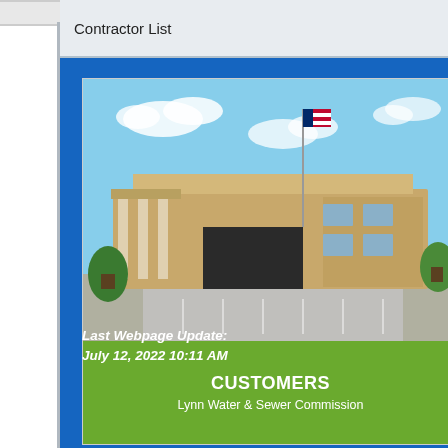Contractor List
[Figure (photo): Photograph of a municipal building (Lynn Water & Sewer Commission) with a flagpole flying an American flag, blue sky with clouds, and a green label bar reading CUSTOMERS / Lynn Water & Sewer Commission]
Last Webpage Update:
July 12, 2022 10:11 AM
Tues
Frida